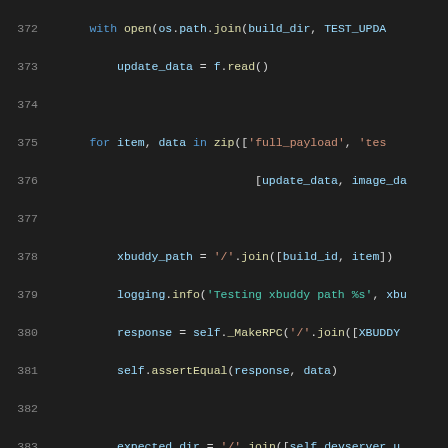Code listing showing Python test method lines 372-392, including file open, for loop, xbuddy_path assignments, logging calls, MakeRPC calls, and assertEqual assertions.